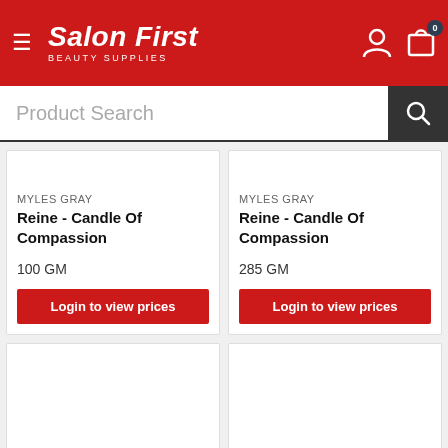[Figure (logo): Salon First Beauty Supplies logo - red header with white italic text]
Product Search
MYLES GRAY
Reine - Candle Of Compassion
100 GM
Login to view prices
MYLES GRAY
Reine - Candle Of Compassion
285 GM
Login to view prices